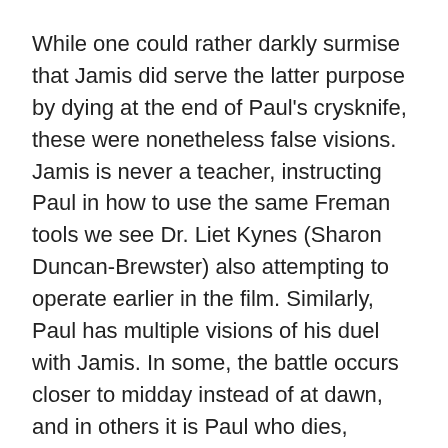While one could rather darkly surmise that Jamis did serve the latter purpose by dying at the end of Paul's crysknife, these were nonetheless false visions. Jamis is never a teacher, instructing Paul in how to use the same Freman tools we see Dr. Liet Kynes (Sharon Duncan-Brewster) also attempting to operate earlier in the film. Similarly, Paul has multiple visions of his duel with Jamis. In some, the battle occurs closer to midday instead of at dawn, and in others it is Paul who dies, bleeding out on the sand instead of Jamis.
All of which should give Paul some relief in knowing that he's not absolutely destined to be stabbed by Zendaya's Chani after the first time they kiss. Nonetheless, as with Duncan Idaho's death, it is a possibility she could stab him. That is because Paul's visions are not of absolute fate or a written destiny,